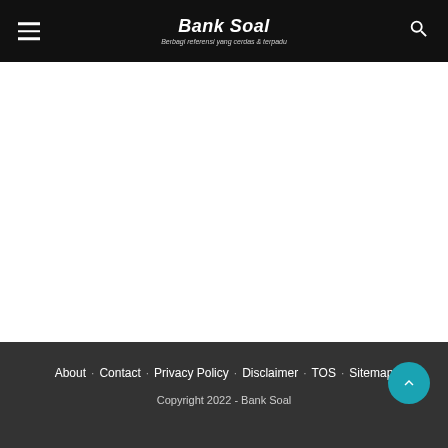Bank Soal - Berbagi referensi yang cerdas & terpadu
About · Contact · Privacy Policy · Disclaimer · TOS · Sitemap
Copyright 2022 - Bank Soal